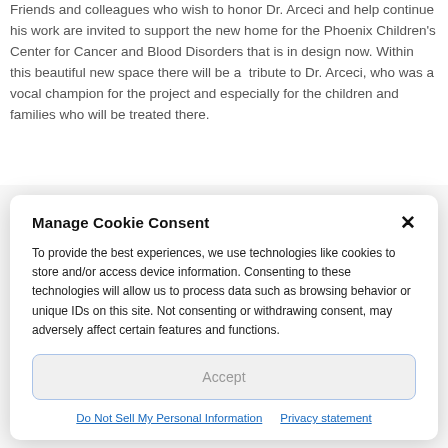Friends and colleagues who wish to honor Dr. Arceci and help continue his work are invited to support the new home for the Phoenix Children's Center for Cancer and Blood Disorders that is in design now. Within this beautiful new space there will be a tribute to Dr. Arceci, who was a vocal champion for the project and especially for the children and families who will be treated there.
Manage Cookie Consent
To provide the best experiences, we use technologies like cookies to store and/or access device information. Consenting to these technologies will allow us to process data such as browsing behavior or unique IDs on this site. Not consenting or withdrawing consent, may adversely affect certain features and functions.
Accept
Do Not Sell My Personal Information   Privacy statement